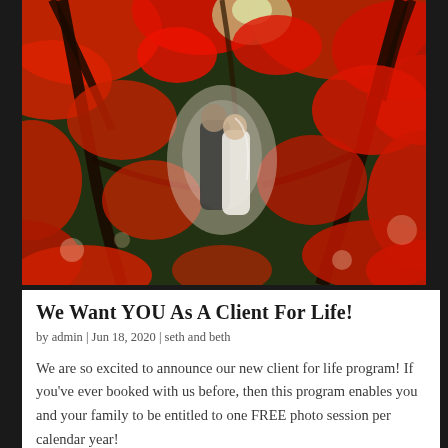[Figure (photo): Wedding couple in an intimate moment surrounded by vibrant red Japanese maple tree branches and leaves, photographed outdoors]
We Want YOU As A Client For Life!
by admin | Jun 18, 2020 | seth and beth
We are so excited to announce our new client for life program! If you've ever booked with us before, then this program enables you and your family to be entitled to one FREE photo session per calendar year!